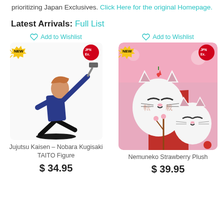prioritizing Japan Exclusives. Click Here for the original Homepage.
Latest Arrivals: Full List
Add to Wishlist
[Figure (photo): Jujutsu Kaisen Nobara Kugisaki TAITO anime figure in action pose with NEW and JPN Ex. badges]
Jujutsu Kaisen – Nobara Kugisaki TAITO Figure
$ 34.95
Add to Wishlist
[Figure (photo): Nemuneko Strawberry Plush - two white cat plush toys with strawberry details, NEW and JPN Ex. badges, pink background]
Nemuneko Strawberry Plush
$ 39.95